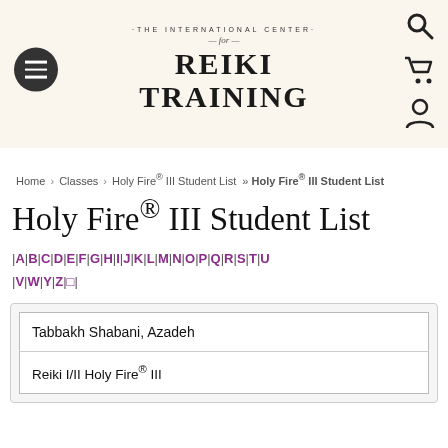[Figure (logo): The International Center for Reiki Training logo with menu button and navigation icons]
Home › Classes › Holy Fire® III Student List » Holy Fire® III Student List
Holy Fire® III Student List
|A|B|C|D|E|F|G|H|I|J|K|L|M|N|O|P|Q|R|S|T|U|V|W|Y|Z|□
| Tabbakh Shabani, Azadeh |
| Reiki I/II Holy Fire® III |